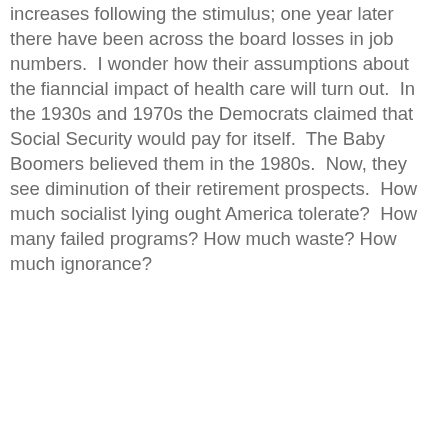increases following the stimulus; one year later there have been across the board losses in job numbers.  I wonder how their assumptions about the fianncial impact of health care will turn out.  In the 1930s and 1970s the Democrats claimed that Social Security would pay for itself.  The Baby Boomers believed them in the 1980s.  Now, they see diminution of their retirement prospects.  How much socialist lying ought America tolerate?  How many failed programs? How much waste? How much ignorance?